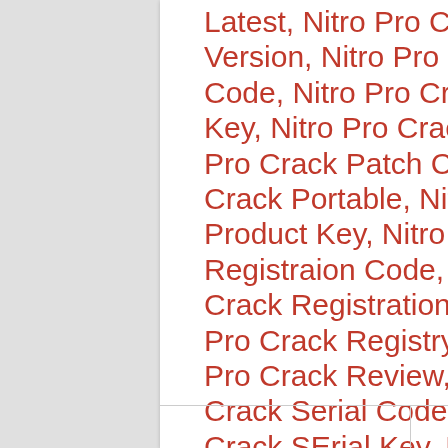Latest, Nitro Pro Crack Latest Version, Nitro Pro Crack License Code, Nitro Pro Crack License Key, Nitro Pro Crack Patch, Nitro Pro Crack Patch Code, Nitro Pro Crack Portable, Nitro Pro Crack Product Key, Nitro Pro Crack Registraion Code, Nitro Pro Crack Registration Key, Nitro Pro Crack Registry Key, Nitro Pro Crack Review, Nitro Pro Crack Serial Code, Nitro Pro Crack SErial Key, Nitro Pro Crack Serial Number, Nitro Pro Crack Torre, Nitro Pro Crack Torre Key, Nitro Pro Crack Ultimate, Nitro Pro Crack Windo